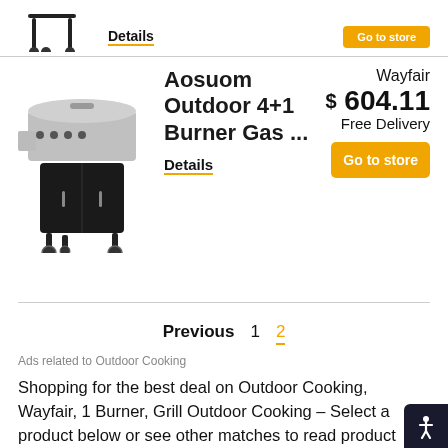[Figure (photo): Partial view of a grill product image cropped at top of page]
Details
[Figure (photo): Aosuom Outdoor 4+1 Burner Gas grill product image - silver and black outdoor gas grill on wheels with side burner]
Aosuom Outdoor 4+1 Burner Gas ...
Wayfair
$ 604.11
Free Delivery
Go to store
Details
Previous  1  2
Ads related to Outdoor Cooking
Shopping for the best deal on Outdoor Cooking, Wayfair, 1 Burner, Grill Outdoor Cooking – Select a product below or see other matches to read product reviews, compare